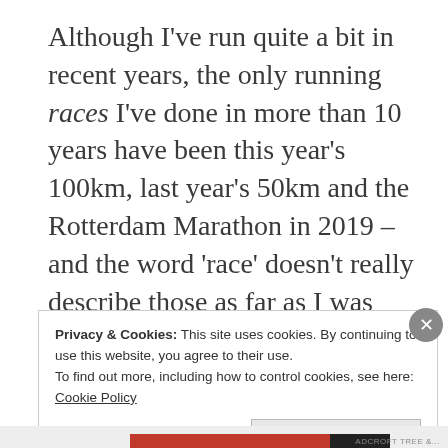Although I've run quite a bit in recent years, the only running races I've done in more than 10 years have been this year's 100km, last year's 50km and the Rotterdam Marathon in 2019 – and the word 'race' doesn't really describe those as far as I was concerned.

Following the cancellation of next month's triathlon, I (together with our younger son
Privacy & Cookies: This site uses cookies. By continuing to use this website, you agree to their use.
To find out more, including how to control cookies, see here: Cookie Policy
Close and accept